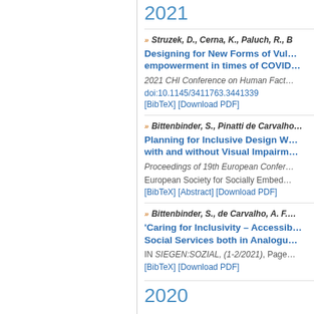2021
Struzek, D., Cerna, K., Paluch, R., B…
Designing for New Forms of Vul… empowerment in times of COVID…
2021 CHI Conference on Human Fact…
doi:10.1145/3411763.3441339
[BibTeX] [Download PDF]
Bittenbinder, S., Pinatti de Carvalho…
Planning for Inclusive Design W… with and without Visual Impairm…
Proceedings of 19th European Confer…
European Society for Socially Embed…
[BibTeX] [Abstract] [Download PDF]
Bittenbinder, S., de Carvalho, A. F.…
'Caring for Inclusivity – Accessib… Social Services both in Analogu…
IN SIEGEN:SOZIAL, (1-2/2021), Page…
[BibTeX] [Download PDF]
2020